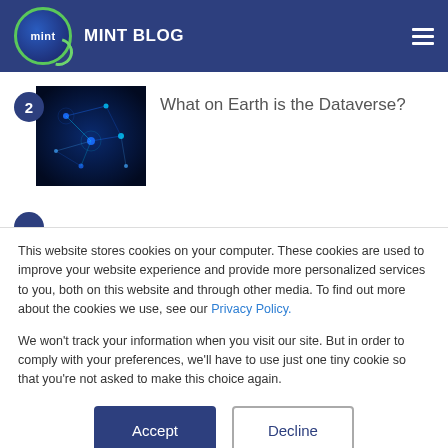MINT BLOG
[Figure (logo): Mint Blog logo: circular emblem with 'mint' text and green arc, beside the text MINT BLOG on a dark blue header bar]
What on Earth is the Dataverse?
[Figure (photo): Thumbnail image of blue digital/network abstract imagery suggesting data connections]
This website stores cookies on your computer. These cookies are used to improve your website experience and provide more personalized services to you, both on this website and through other media. To find out more about the cookies we use, see our Privacy Policy.
We won't track your information when you visit our site. But in order to comply with your preferences, we'll have to use just one tiny cookie so that you're not asked to make this choice again.